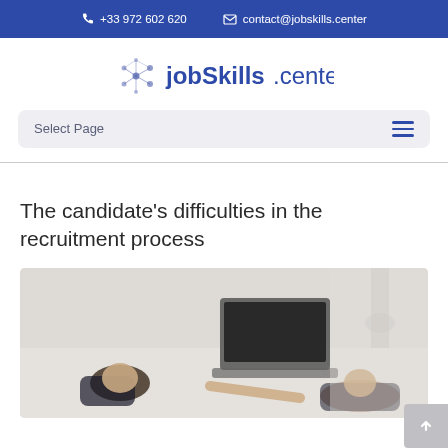+33 972 602 620   contact@jobskills.center
[Figure (logo): jobSkills.center logo with network/nodes icon on the left]
Select Page
The candidate's difficulties in the recruitment process
[Figure (photo): Two people sitting across a desk, one with head resting on desk in stressed pose, laptop visible on desk, overhead view]